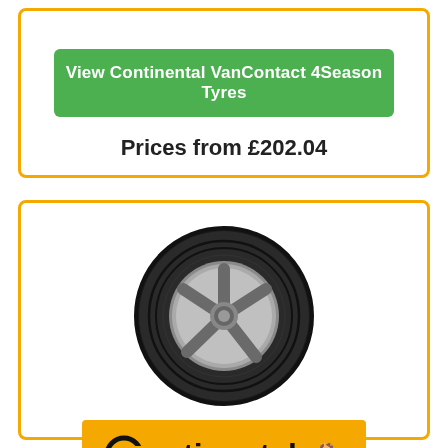View Continental VanContact 4Season Tyres
Prices from £202.04
[Figure (photo): Continental van tyre product photo on alloy wheel]
[Figure (logo): Continental brand logo on orange/yellow background]
VanContact Eco